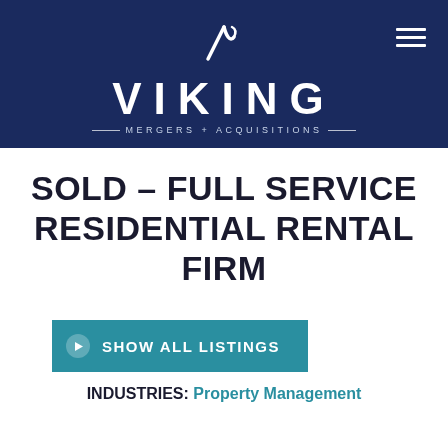[Figure (logo): Viking Mergers + Acquisitions logo — white V emblem above large 'VIKING' text, with 'MERGERS + ACQUISITIONS' tagline on dark navy background header]
SOLD – FULL SERVICE RESIDENTIAL RENTAL FIRM
SHOW ALL LISTINGS
INDUSTRIES: Property Management